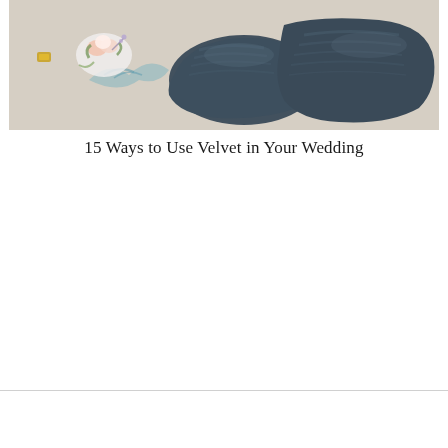[Figure (photo): Close-up photo of dark navy/slate blue velvet loafer shoes on a light beige carpet, with a boutonniere (white and pink flowers with greenery) and gold cufflinks visible beside the shoes. A blue botanical print is visible under the boutonniere.]
15 Ways to Use Velvet in Your Wedding